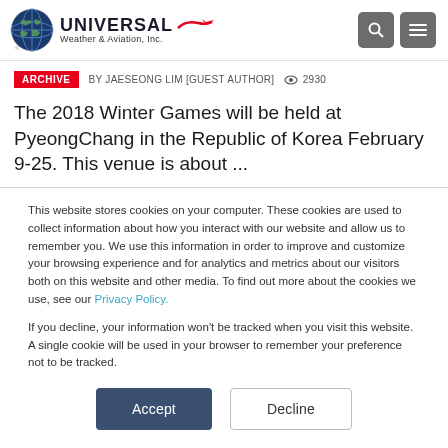[Figure (logo): Universal Weather & Aviation, Inc. logo with globe icon and red airplane silhouette]
ARCHIVE  BY JAESEONG LIM [GUEST AUTHOR]  2930
The 2018 Winter Games will be held at PyeongChang in the Republic of Korea February 9-25. This venue is about ...
This website stores cookies on your computer. These cookies are used to collect information about how you interact with our website and allow us to remember you. We use this information in order to improve and customize your browsing experience and for analytics and metrics about our visitors both on this website and other media. To find out more about the cookies we use, see our Privacy Policy.
If you decline, your information won't be tracked when you visit this website. A single cookie will be used in your browser to remember your preference not to be tracked.